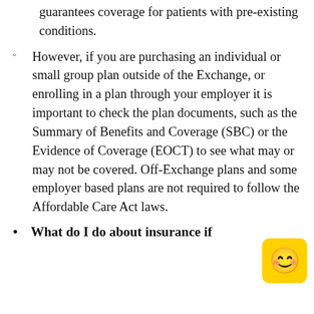guarantees coverage for patients with pre-existing conditions.
However, if you are purchasing an individual or small group plan outside of the Exchange, or enrolling in a plan through your employer it is important to check the plan documents, such as the Summary of Benefits and Coverage (SBC) or the Evidence of Coverage (EOCT) to see what may or may not be covered. Off-Exchange plans and some employer based plans are not required to follow the Affordable Care Act laws.
What do I do about insurance if